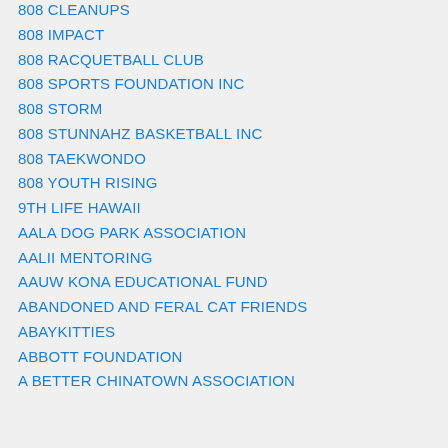808 CLEANUPS
808 IMPACT
808 RACQUETBALL CLUB
808 SPORTS FOUNDATION INC
808 STORM
808 STUNNAHZ BASKETBALL INC
808 TAEKWONDO
808 YOUTH RISING
9TH LIFE HAWAII
AALA DOG PARK ASSOCIATION
AALII MENTORING
AAUW KONA EDUCATIONAL FUND
ABANDONED AND FERAL CAT FRIENDS
ABAYKITTIES
ABBOTT FOUNDATION
A BETTER CHINATOWN ASSOCIATION